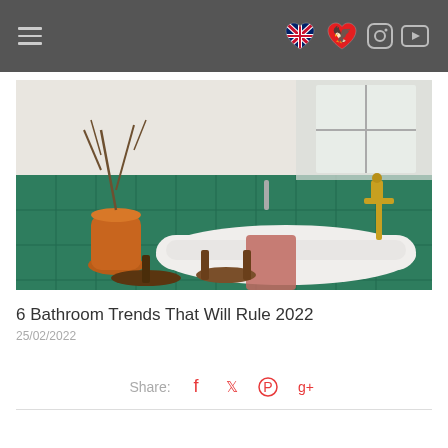Navigation bar with hamburger menu and social/flag icons
[Figure (photo): Bathroom with green tiled walls, a freestanding white bathtub with gold faucet, a terracotta pot with branches, and a wooden stool with a pink towel draped over the tub.]
6 Bathroom Trends That Will Rule 2022
25/02/2022
Share: